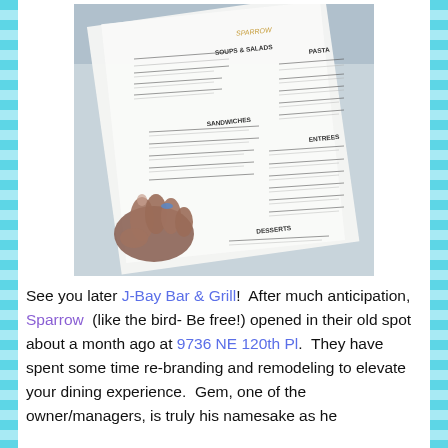[Figure (photo): Photo of a person holding a restaurant menu. The menu shows sections including Soups & Salads, Sandwiches, Entrees, Pasta, and Desserts for a restaurant called Sparrow.]
See you later J-Bay Bar & Grill!  After much anticipation, Sparrow  (like the bird- Be free!) opened in their old spot about a month ago at 9736 NE 120th Pl.  They have spent some time re-branding and remodeling to elevate your dining experience.  Gem, one of the owner/managers, is truly his namesake as he